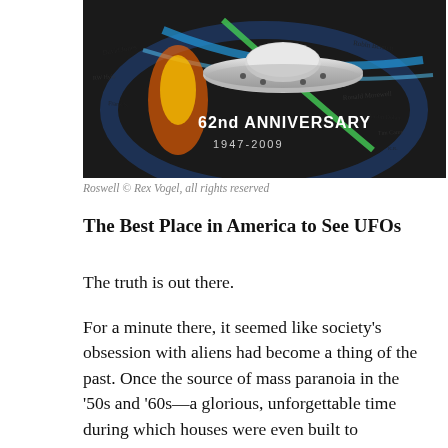[Figure (photo): A signed commemorative poster for the 62nd Anniversary (1947-2009) of the Roswell UFO incident, showing a metallic flying saucer with colorful streaks on a dark background, surrounded by signatures.]
Roswell © Rex Vogel, all rights reserved
The Best Place in America to See UFOs
The truth is out there.
For a minute there, it seemed like society's obsession with aliens had become a thing of the past. Once the source of mass paranoia in the '50s and '60s—a glorious, unforgettable time during which houses were even built to